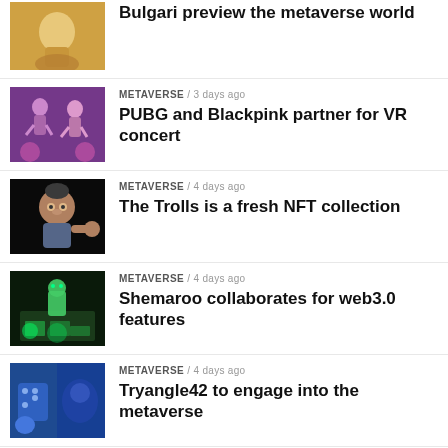[Figure (photo): Partial view of first news article thumbnail - cropped at top]
METAVERSE / 3 days ago
PUBG and Blackpink partner for VR concert
[Figure (photo): PUBG and Blackpink VR concert - animated characters dancing]
METAVERSE / 4 days ago
The Trolls is a fresh NFT collection
[Figure (photo): Trolls NFT collection - 3D troll character]
METAVERSE / 4 days ago
Shemaroo collaborates for web3.0 features
[Figure (photo): Shemaroo web3.0 - green glowing character in digital world]
METAVERSE / 4 days ago
Tryangle42 to engage into the metaverse
[Figure (photo): Tryangle42 metaverse - blue illustrated scene]
METAVERSE / 4 days ago